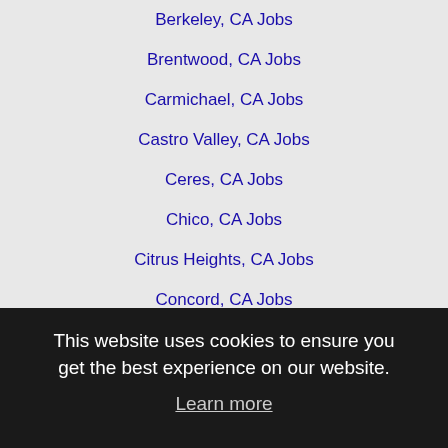Berkeley, CA Jobs
Brentwood, CA Jobs
Carmichael, CA Jobs
Castro Valley, CA Jobs
Ceres, CA Jobs
Chico, CA Jobs
Citrus Heights, CA Jobs
Concord, CA Jobs
Cupertino, CA Jobs
Daly City, CA Jobs
Davis, CA Jobs
El Cajon, CA Jobs
El Monte, CA Jobs
Elk Grove, CA Jobs
Escondido, CA Jobs
Fremont, CA Jobs
Gilroy, CA Jobs
This website uses cookies to ensure you get the best experience on our website. Learn more Got it!